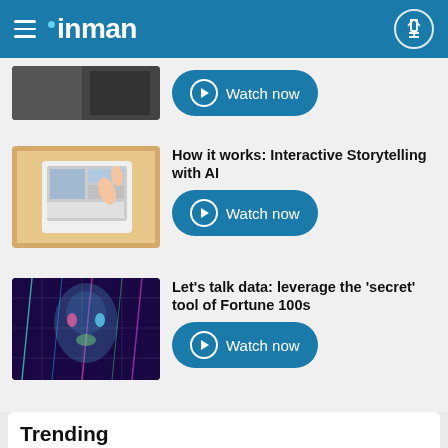inman
[Figure (screenshot): Partial thumbnail of a video item, cropped at top]
Watch now
[Figure (photo): Person using a tablet showing interior design images]
How it works: Interactive Storytelling with AI
Watch now
[Figure (photo): Digital face overlaid with data/code visualization]
Let's talk data: leverage the 'secret' tool of Fortune 100s
Watch now
Trending
[Figure (photo): Small thumbnail for Compass news article]
Compass ditches stock, financial incentives